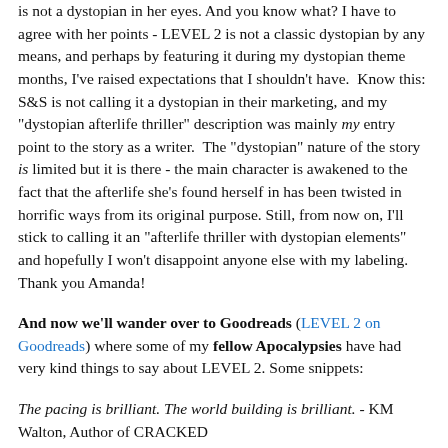is not a dystopian in her eyes. And you know what? I have to agree with her points - LEVEL 2 is not a classic dystopian by any means, and perhaps by featuring it during my dystopian theme months, I've raised expectations that I shouldn't have. Know this: S&S is not calling it a dystopian in their marketing, and my "dystopian afterlife thriller" description was mainly my entry point to the story as a writer. The "dystopian" nature of the story is limited but it is there - the main character is awakened to the fact that the afterlife she's found herself in has been twisted in horrific ways from its original purpose. Still, from now on, I'll stick to calling it an "afterlife thriller with dystopian elements" and hopefully I won't disappoint anyone else with my labeling. Thank you Amanda!
And now we'll wander over to Goodreads (LEVEL 2 on Goodreads) where some of my fellow Apocalypsies have had very kind things to say about LEVEL 2. Some snippets:
The pacing is brilliant. The world building is brilliant. - KM Walton, Author of CRACKED